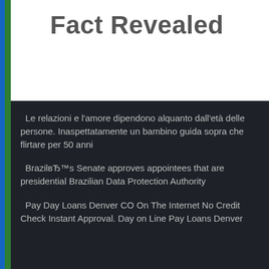Fact Revealed
Le relazioni e l'amore dipendono alquanto dall'età delle persone. Inaspettatamente un bambino guida sopra che flirtare per 50 anni
Brazil's Senate approves appointees that are presidential Brazilian Data Protection Authority
Pay Day Loans Denver CO On The Internet No Credit Check Instant Approval. Day on Line Pay Loans Denver